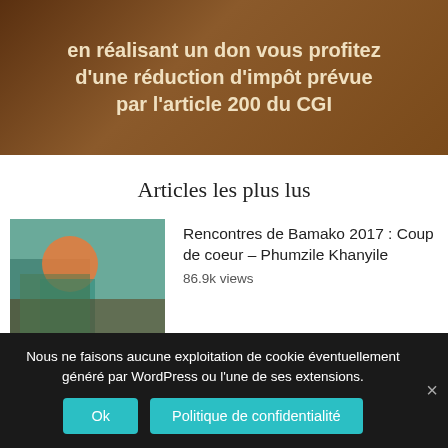[Figure (photo): Dark brown/tan banner with text about tax reduction by article 200 du CGI]
en réalisant un don vous profitez d'une réduction d'impôt prévue par l'article 200 du CGI
Articles les plus lus
[Figure (photo): Thumbnail photo of a person in colorful clothing]
Rencontres de Bamako 2017 : Coup de coeur – Phumzile Khanyile
86.9k views
[Figure (photo): Thumbnail photo showing a person on the ground on a street]
Manque de culture photographique dans le photojournalisme
Le Coup de gueule de Jean-François Leroy
21.8k views
Nous ne faisons aucune exploitation de cookie éventuellement généré par WordPress ou l'une de ses extensions.